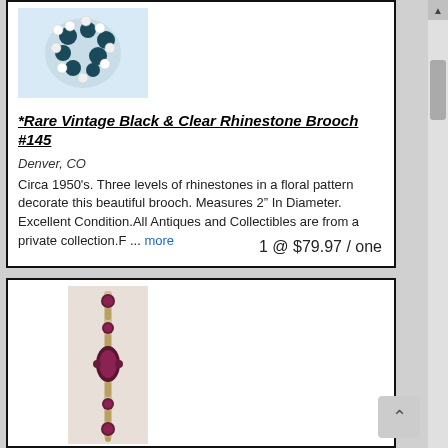[Figure (photo): Dark teal/black and clear rhinestone brooch in a floral pattern on a light blue-white background]
*Rare Vintage Black & Clear Rhinestone Brooch #145
Denver, CO
Circa 1950's. Three levels of rhinestones in a floral pattern decorate this beautiful brooch. Measures 2” In Diameter. Excellent Condition.All Antiques and Collectibles are from a private collection.F ... more
1 @ $79.97 / one
[Figure (photo): A narrow vertical bracelet or necklace with dark purple/maroon gemstones set in gold-tone metal links, photographed against a neutral background]